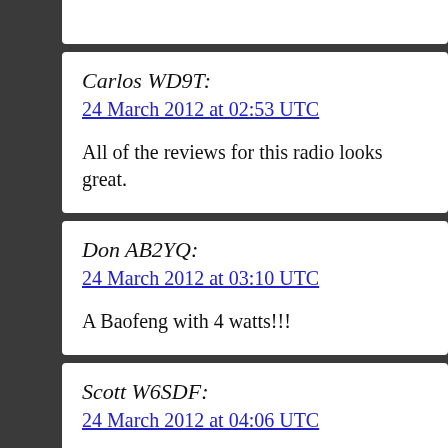Carlos WD9T:
24 March 2012 at 02:53 UTC
All of the reviews for this radio looks great.
Don AB2YQ:
24 March 2012 at 03:10 UTC
A Baofeng with 4 watts!!!
Scott W6SDF:
24 March 2012 at 04:06 UTC
I'm glad to see they added ALPHA TAGS!